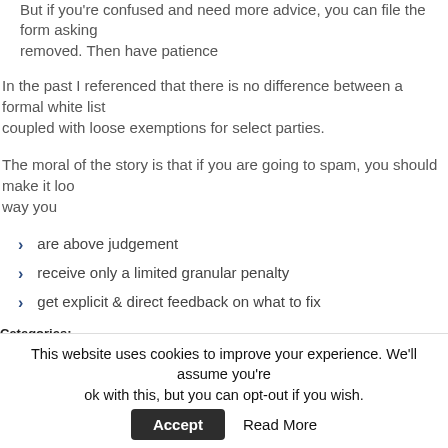But if you're confused and need more advice, you can file the form asking removed. Then have patience
In the past I referenced that there is no difference between a formal white list coupled with loose exemptions for select parties.
The moral of the story is that if you are going to spam, you should make it look way you
are above judgement
receive only a limited granular penalty
get explicit & direct feedback on what to fix
Categories:
publishing & media
SEO Book
This website uses cookies to improve your experience. We'll assume you're ok with this, but you can opt-out if you wish.